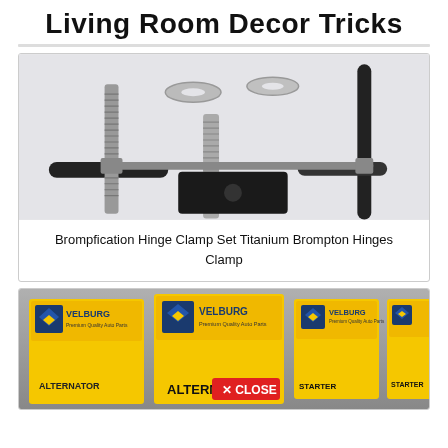Living Room Decor Tricks
[Figure (photo): Product photo of Brompfication Hinge Clamp Set Titanium Brompton Hinges Clamp — showing threaded titanium rods with black cylindrical handles and a black rubber block with a hole, on light gray background.]
Brompfication Hinge Clamp Set Titanium Brompton Hinges Clamp
[Figure (photo): Product photo showing multiple yellow VELBURG branded auto parts boxes labeled ALTERNATOR and STARTER, with a red X CLOSE button overlay in the bottom center.]